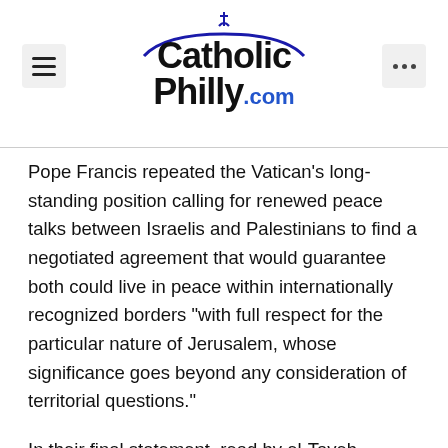CatholicPhilly.com
Pope Francis repeated the Vatican’s long-standing position calling for renewed peace talks between Israelis and Palestinians to find a negotiated agreement that would guarantee both could live in peace within internationally recognized borders “with full respect for the particular nature of Jerusalem, whose significance goes beyond any consideration of territorial questions.”
In their final statement, read by el-Tayeb, conference participants voiced “unequivocal rejection of the recent U.S. administration decisions which, in the eyes of the Arab, the Muslim world and the free world, are nothing but ink on paper.”